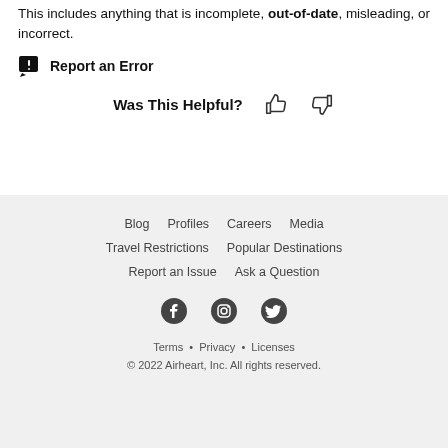This includes anything that is incomplete, out-of-date, misleading, or incorrect.
Report an Error
Was This Helpful?
Blog
Profiles
Careers
Media
Travel Restrictions
Popular Destinations
Report an Issue
Ask a Question
Terms • Privacy • Licenses
© 2022 Airheart, Inc. All rights reserved.